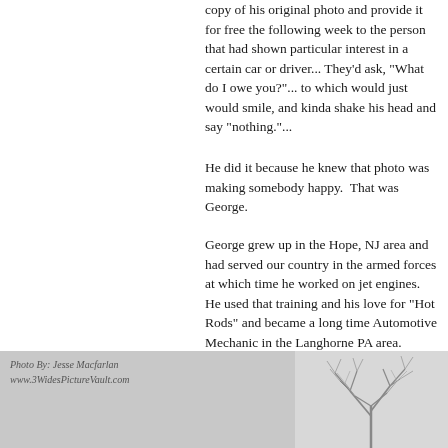copy of his original photo and provide it for free the following week to the person that had shown particular interest in a certain car or driver... They'd ask, "What do I owe you?"... to which would just would smile, and kinda shake his head and say "nothing."...
He did it because he knew that photo was making somebody happy.  That was George.
George grew up in the Hope, NJ area and had served our country in the armed forces at which time he worked on jet engines.  He used that training and his love for "Hot Rods" and became a long time Automotive Mechanic in the Langhorne PA area. George had recently retired from McCafferty Ford (Langhorne PA) a few years ago.
[Figure (photo): Photo strip at bottom of page. Left portion shows a photo with credit 'Photo By: Jesse Macfarlan www.3WidesPictureVault.com'. Right portion shows bare winter tree branches against a light sky.]